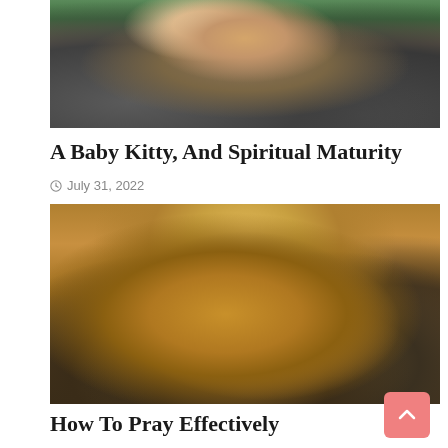[Figure (photo): A calico or tabby cat walking toward the camera on a dark surface, green structures in background]
A Baby Kitty, And Spiritual Maturity
July 31, 2022
[Figure (photo): Clasped praying hands in warm golden/amber tones with dramatic lighting and blurred cityscape in background]
How To Pray Effectively